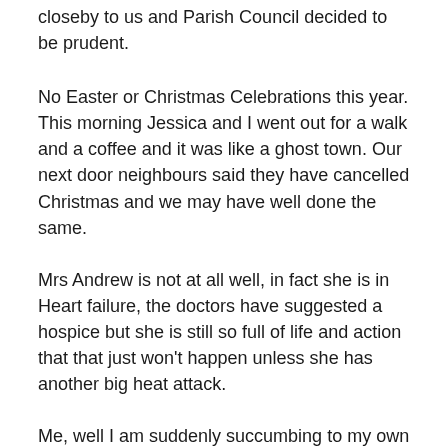closeby to us and Parish Council decided to be prudent.
No Easter or Christmas Celebrations this year. This morning Jessica and I went out for a walk and a coffee and it was like a ghost town. Our next door neighbours said they have cancelled Christmas and we may have well done the same.
Mrs Andrew is not at all well, in fact she is in Heart failure, the doctors have suggested a hospice but she is still so full of life and action that that just won't happen unless she has another big heat attack.
Me, well I am suddenly succumbing to my own ills and have been using a walking stick for several months and have fallen three times recetly and injured myself.
Putting on weight due to less exercise and too much